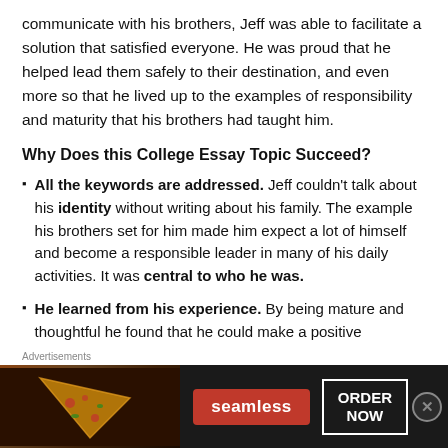communicate with his brothers, Jeff was able to facilitate a solution that satisfied everyone. He was proud that he helped lead them safely to their destination, and even more so that he lived up to the examples of responsibility and maturity that his brothers had taught him.
Why Does this College Essay Topic Succeed?
All the keywords are addressed. Jeff couldn't talk about his identity without writing about his family. The example his brothers set for him made him expect a lot of himself and become a responsible leader in many of his daily activities. It was central to who he was.
He learned from his experience. By being mature and thoughtful he found that he could make a positive difference in a difficult situation.
[Figure (other): Seamless food delivery advertisement banner with pizza image, Seamless logo button, and ORDER NOW button]